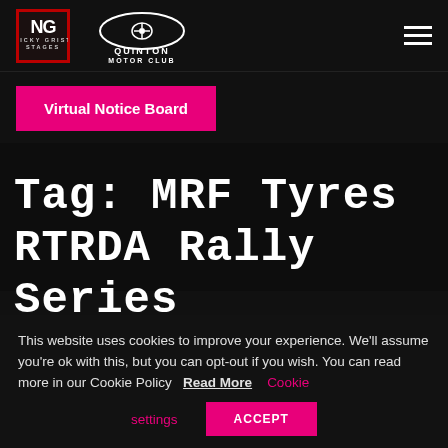Nicky Grist Stages | Quinton Motor Club
[Figure (logo): NG Nicky Grist Stages logo (black box with red border) and Quinton Motor Club logo (oval with car icon, QUINTON MOTOR CLUB text)]
Virtual Notice Board
Tag: MRF Tyres RTRDA Rally Series
This website uses cookies to improve your experience. We'll assume you're ok with this, but you can opt-out if you wish. You can read more in our Cookie Policy  Read More  Cookie settings  ACCEPT